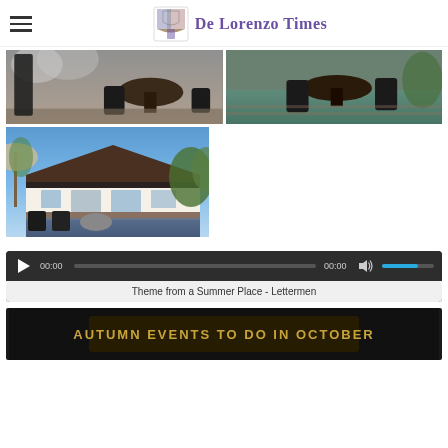De Lorenzo Times
[Figure (photo): Outdoor patio with round table and chairs, smoky atmosphere]
[Figure (photo): Outdoor patio with round table and chairs near a pool or water feature]
[Figure (photo): Exterior of a house with a dark roof, umbrella and patio chairs in foreground near a pool]
[Figure (screenshot): Audio player controls showing 00:00 / 00:00, volume bar filled in blue]
Theme from a Summer Place - Lettermen
[Figure (screenshot): Video thumbnail with gold text reading AUTUMN EVENTS TO DO IN OCTOBER on dark background]